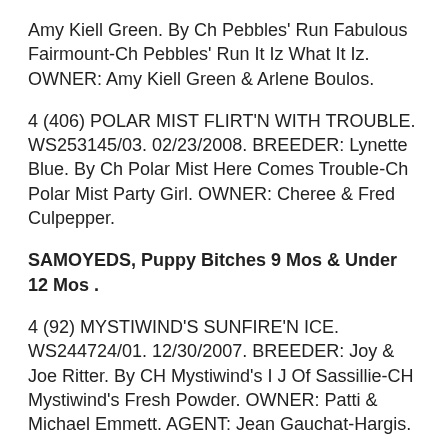Amy Kiell Green. By Ch Pebbles' Run Fabulous Fairmount-Ch Pebbles' Run It Iz What It Iz. OWNER: Amy Kiell Green & Arlene Boulos.
4 (406) POLAR MIST FLIRT'N WITH TROUBLE. WS253145/03. 02/23/2008. BREEDER: Lynette Blue. By Ch Polar Mist Here Comes Trouble-Ch Polar Mist Party Girl. OWNER: Cheree & Fred Culpepper.
SAMOYEDS, Puppy Bitches 9 Mos & Under 12 Mos .
4 (92) MYSTIWIND'S SUNFIRE'N ICE. WS244724/01. 12/30/2007. BREEDER: Joy & Joe Ritter. By CH Mystiwind's I J Of Sassillie-CH Mystiwind's Fresh Powder. OWNER: Patti & Michael Emmett. AGENT: Jean Gauchat-Hargis.
1/OVS (410) CH CUVEE'S BRIDGETTE BORDEAUX. WS244543/01. 11/09/2007. BREEDER: Karen Allison &